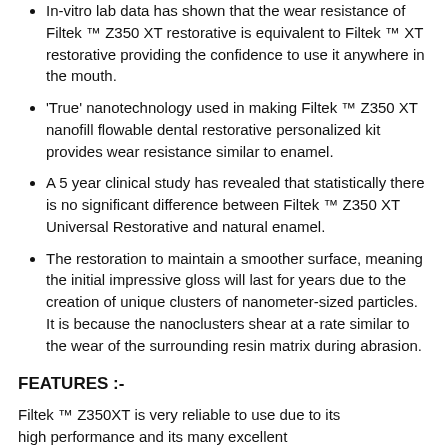In-vitro lab data has shown that the wear resistance of Filtek ™ Z350 XT restorative is equivalent to Filtek ™ XT restorative providing the confidence to use it anywhere in the mouth.
'True' nanotechnology used in making Filtek ™ Z350 XT nanofill flowable dental restorative personalized kit provides wear resistance similar to enamel.
A 5 year clinical study has revealed that statistically there is no significant difference between Filtek ™ Z350 XT Universal Restorative and natural enamel.
The restoration to maintain a smoother surface, meaning the initial impressive gloss will last for years due to the creation of unique clusters of nanometer-sized particles. It is because the nanoclusters shear at a rate similar to the wear of the surrounding resin matrix during abrasion.
FEATURES :-
Filtek ™ Z350XT is very reliable to use due to its high performance and its many excellent...